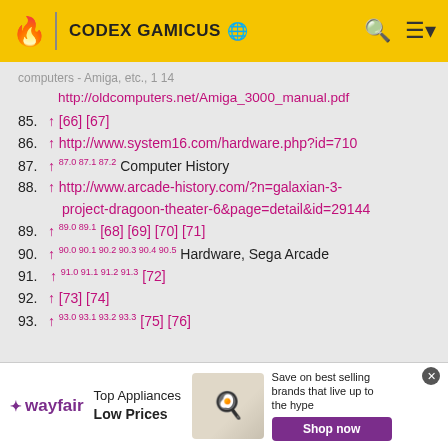CODEX GAMICUS
http://oldcomputers.net/Amiga_3000_manual.pdf
85. ↑ [66] [67]
86. ↑ http://www.system16.com/hardware.php?id=710
87. ↑ 87.0 87.1 87.2 Computer History
88. ↑ http://www.arcade-history.com/?n=galaxian-3-project-dragoon-theater-6&page=detail&id=29144
89. ↑ 89.0 89.1 [68] [69] [70] [71]
90. ↑ 90.0 90.1 90.2 90.3 90.4 90.5 Hardware, Sega Arcade
91. ↑ 91.0 91.1 91.2 91.3 [72]
92. ↑ [73] [74]
93. ↑ 93.0 93.1 93.2 93.3 [75] [76]
[Figure (other): Wayfair advertisement banner with Top Appliances Low Prices and Shop now button]